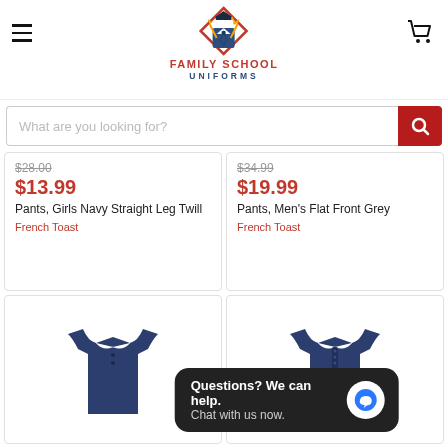[Figure (logo): Family School Uniforms logo with graduation cap icon, red diamond shape, blue tie]
What are you looking for?
$28.00
$13.99
Pants, Girls Navy Straight Leg Twill
French Toast
$34.99
$19.99
Pants, Men's Flat Front Grey
French Toast
[Figure (photo): Navy blue polo shirt, short sleeve, school uniform]
[Figure (photo): Navy blue polo shirt with buttons, short sleeve, school uniform]
Questions? We can help. Chat with us now.